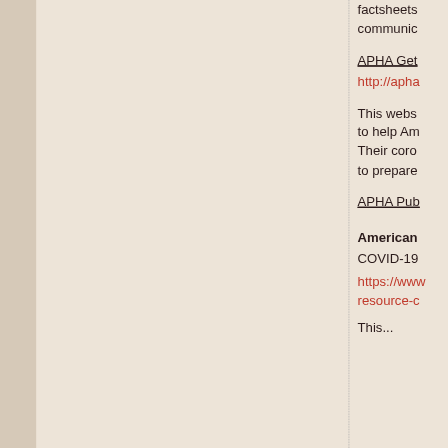factsheets communic
APHA Get
http://apha
This webs to help Am Their coro to prepare
APHA Pub
American
COVID-19
https://www resource-c
This...